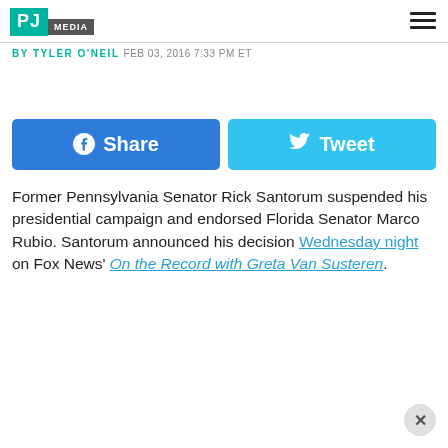PJ MEDIA
BY TYLER O'NEIL FEB 03, 2016 7:33 PM ET
[Figure (other): Facebook Share button (blue) and Twitter Tweet button (light blue) side by side]
Former Pennsylvania Senator Rick Santorum suspended his presidential campaign and endorsed Florida Senator Marco Rubio. Santorum announced his decision Wednesday night on Fox News' On the Record with Greta Van Susteren.